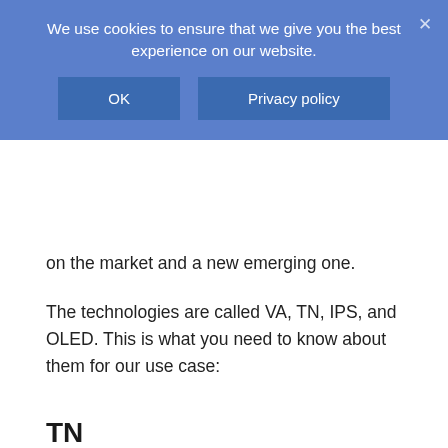[Figure (screenshot): Cookie consent banner with blue background, text 'We use cookies to ensure that we give you the best experience on our website.', two buttons labeled 'OK' and 'Privacy policy', and a close X in the top right.]
on the market and a new emerging one.
The technologies are called VA, TN, IPS, and OLED. This is what you need to know about them for our use case:
TN
TN (twisted nematic) panels’ main advantage is speed